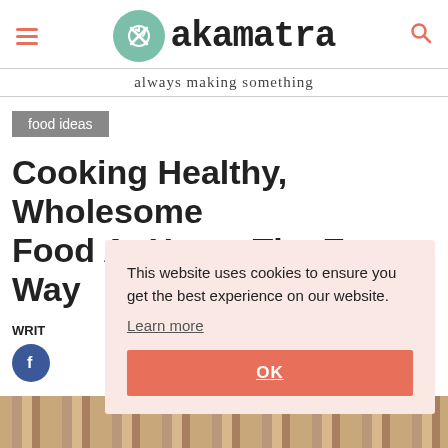akamatra — always making something
food ideas
Cooking Healthy, Wholesome Food At Home The Easy Way
WRITTEN BY
[Figure (screenshot): Cookie consent overlay: 'This website uses cookies to ensure you get the best experience on our website. Learn more' with an OK button.]